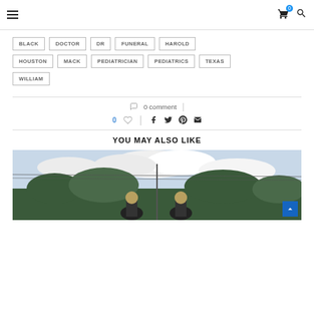Navigation header with hamburger menu, cart icon (0 items), and search icon
BLACK
DOCTOR
DR
FUNERAL
HAROLD
HOUSTON
MACK
PEDIATRICIAN
PEDIATRICS
TEXAS
WILLIAM
0 comment
0 likes, share icons: facebook, twitter, pinterest, email
YOU MAY ALSO LIKE
[Figure (photo): Outdoor photo showing two people against a sky with clouds and trees]